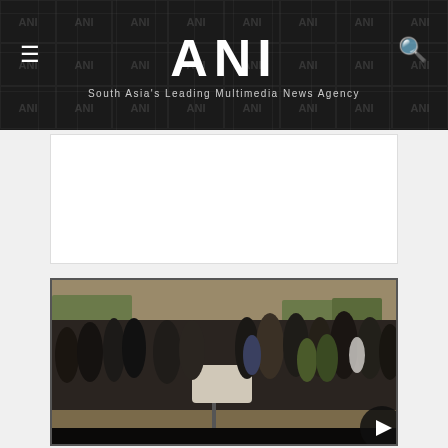ANI — South Asia's Leading Multimedia News Agency
[Figure (other): Advertisement/blank white box placeholder]
[Figure (photo): Outdoor group photo showing military officers, officials in suits, and civilians gathered around a piece of equipment on a tripod (possibly a drone or sensor device), at what appears to be a military exhibition or field demonstration. Crowd and military vehicles visible in background.]